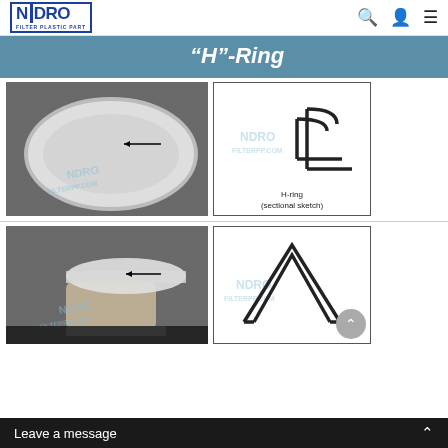NDRO FILTER PLASTIC PART
“H”-Ring
[Figure (photo): Photo of a white plastic H-ring filter component held against a dark fabric background, with an arrow pointing to the ribbed edge of the ring. Watermark: NDRO FILTERPP.COM]
[Figure (engineering-diagram): Sectional sketch of an H-ring showing its cross-sectional L/H shape profile with rounded corner, black outline on white background. Label: H-ring (sectional sketch). Watermark: NDRO FILTERPP.COM]
[Figure (photo): Photo of a white plastic part being held by a hand against dark fabric, with arrow pointing to ribbed section. Watermark: NDRO FILTERPP.COM]
[Figure (engineering-diagram): Sectional sketch of another H-ring variant showing a triangular/tent-shaped cross section profile. Watermark: NDRO FILTERPP.COM]
Leave a message